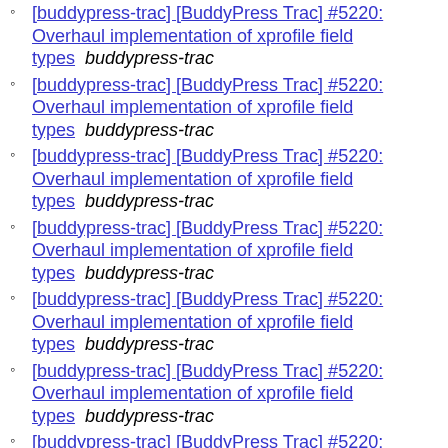[buddypress-trac] [BuddyPress Trac] #5220: Overhaul implementation of xprofile field types   buddypress-trac
[buddypress-trac] [BuddyPress Trac] #5220: Overhaul implementation of xprofile field types   buddypress-trac
[buddypress-trac] [BuddyPress Trac] #5220: Overhaul implementation of xprofile field types   buddypress-trac
[buddypress-trac] [BuddyPress Trac] #5220: Overhaul implementation of xprofile field types   buddypress-trac
[buddypress-trac] [BuddyPress Trac] #5220: Overhaul implementation of xprofile field types   buddypress-trac
[buddypress-trac] [BuddyPress Trac] #5220: Overhaul implementation of xprofile field types   buddypress-trac
[buddypress-trac] [BuddyPress Trac] #5220: Overhaul implementation of xprofile field types   buddypress-trac
[buddypress-trac] [BuddyPress Trac] #5220: Overhaul implementation of xprofile field types   buddypress-trac
[buddypress-trac] [BuddyPress Trac] #5220: Overhaul implementation of xprofile field types   buddypress-trac (partial)